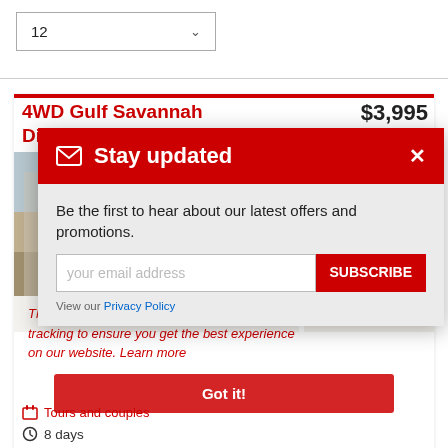12
4WD Gulf Savannah Discovery
$3,995 pp
[Figure (photo): Tour landscape images showing savannah and rock formations]
Stay updated
Be the first to hear about our latest offers and promotions.
SUBSCRIBE
View our Privacy Policy
This website uses cookies and Google Analytics tracking to ensure you get the best experience on our website. Learn more
Got it!
Tours and couples
8 days